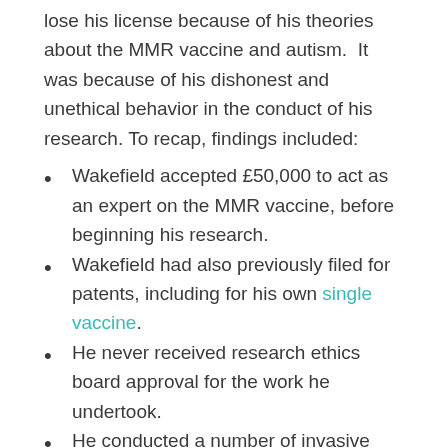lose his license because of his theories about the MMR vaccine and autism. It was because of his dishonest and unethical behavior in the conduct of his research. To recap, findings included:
Wakefield accepted £50,000 to act as an expert on the MMR vaccine, before beginning his research.
Wakefield had also previously filed for patents, including for his own single vaccine.
He never received research ethics board approval for the work he undertook.
He conducted a number of invasive studies in children, including spinal taps (lumbar punctures) that were medically unnecessary.
Wakefield was the lead author of the paper which appeared in the Lancet in 1998. In that paper, he